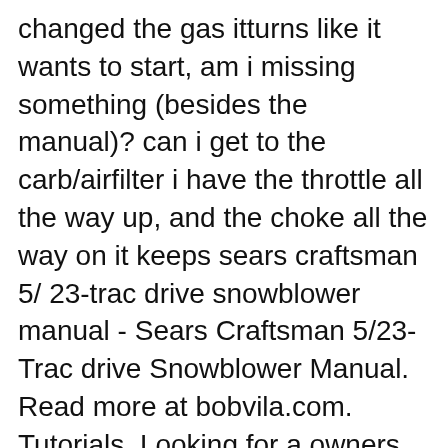changed the gas itturns like it wants to start, am i missing something (besides the manual)? can i get to the carb/airfilter i have the throttle all the way up, and the choke all the way on it keeps sears craftsman 5/ 23-trac drive snowblower manual - Sears Craftsman 5/23-Trac drive Snowblower Manual. Read more at bobvila.com. Tutorials. Looking for a owners manual for a sears 5hp 22 inch snowblower 536.886530. all products - snowblower guide - Walker SnowJoe Poulan PRO snowblower operators manual, owners manual,
You have to replace the whole auger. The part number for the auger is 1501981MA. The part can My New